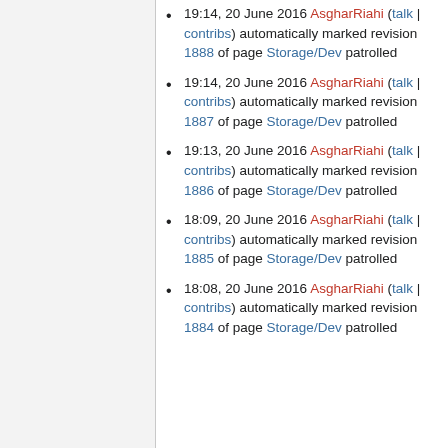19:14, 20 June 2016 AsgharRiahi (talk | contribs) automatically marked revision 1888 of page Storage/Dev patrolled
19:14, 20 June 2016 AsgharRiahi (talk | contribs) automatically marked revision 1887 of page Storage/Dev patrolled
19:13, 20 June 2016 AsgharRiahi (talk | contribs) automatically marked revision 1886 of page Storage/Dev patrolled
18:09, 20 June 2016 AsgharRiahi (talk | contribs) automatically marked revision 1885 of page Storage/Dev patrolled
18:08, 20 June 2016 AsgharRiahi (talk | contribs) automatically marked revision 1884 of page Storage/Dev patrolled